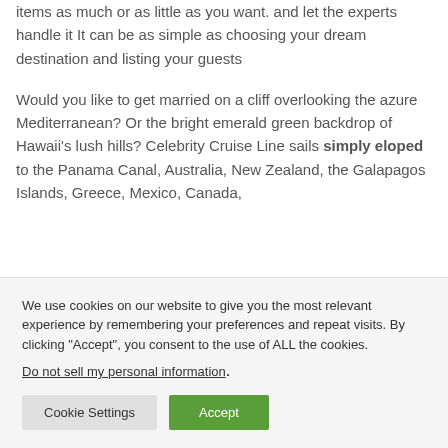items as much or as little as you want. and let the experts handle it It can be as simple as choosing your dream destination and listing your guests
Would you like to get married on a cliff overlooking the azure Mediterranean? Or the bright emerald green backdrop of Hawaii's lush hills? Celebrity Cruise Line sails simply eloped to the Panama Canal, Australia, New Zealand, the Galapagos Islands, Greece, Mexico, Canada,
We use cookies on our website to give you the most relevant experience by remembering your preferences and repeat visits. By clicking "Accept", you consent to the use of ALL the cookies.
Do not sell my personal information.